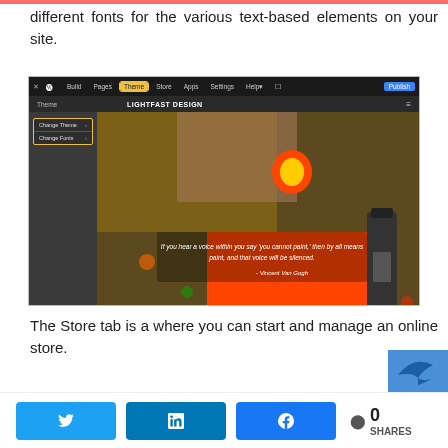different fonts for the various text-based elements on your site.
[Figure (screenshot): Screenshot of a website builder interface showing the Theme tab selected in the navigation bar, with a sidebar showing 'Change Theme' and 'Change Fonts' options highlighted in yellow boxes, and a main content area showing an art-themed website with a Vincent Van Gogh quote over a photo of paint supplies.]
The Store tab is a where you can start and manage an online store.
[Figure (other): Social sharing buttons for Twitter, LinkedIn, and Facebook, plus a share count showing 0 SHARES]